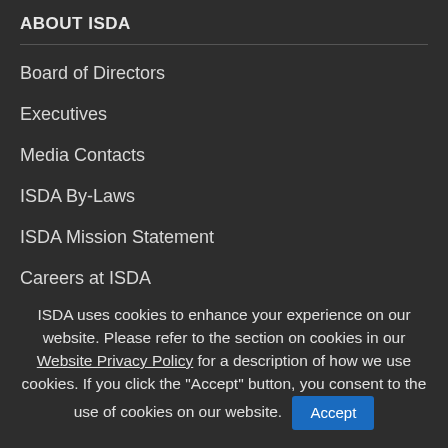ABOUT ISDA
Board of Directors
Executives
Media Contacts
ISDA By-Laws
ISDA Mission Statement
Careers at ISDA
Contact Us
ISDA MEMBERS
Join ISDA
Member Communication Platform
Me...
Member Show [R...]
ISDA Future Leaders in Derivatives
ISDA uses cookies to enhance your experience on our website. Please refer to the section on cookies in our Website Privacy Policy for a description of how we use cookies. If you click the "Accept" button, you consent to the use of cookies on our website.